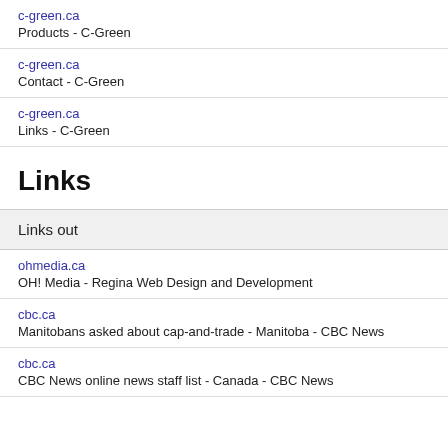c-green.ca
Products - C-Green
c-green.ca
Contact - C-Green
c-green.ca
Links - C-Green
Links
| Links out |
| --- |
ohmedia.ca
OH! Media - Regina Web Design and Development
cbc.ca
Manitobans asked about cap-and-trade - Manitoba - CBC News
cbc.ca
CBC News online news staff list - Canada - CBC News